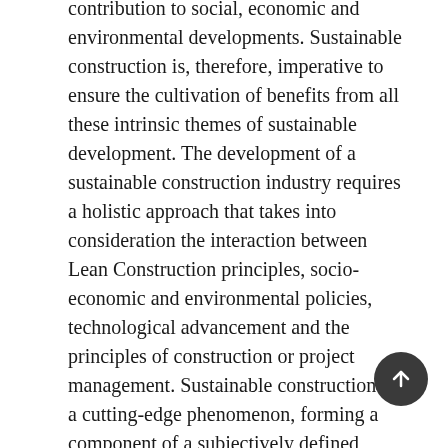contribution to social, economic and environmental developments. Sustainable construction is, therefore, imperative to ensure the cultivation of benefits from all these intrinsic themes of sustainable development. The development of a sustainable construction industry requires a holistic approach that takes into consideration the interaction between Lean Construction principles, socio-economic and environmental policies, technological advancement and the principles of construction or project management. Sustainable construction is a cutting-edge phenomenon, forming a component of a subjectively defined concept called sustainable development. Sustainable development can be defined in terms of attitudes and judgments to assist in ensuring long-term environmental, social and economic growth in society. The key concept of sustainable construction is Lean Construction. Lean